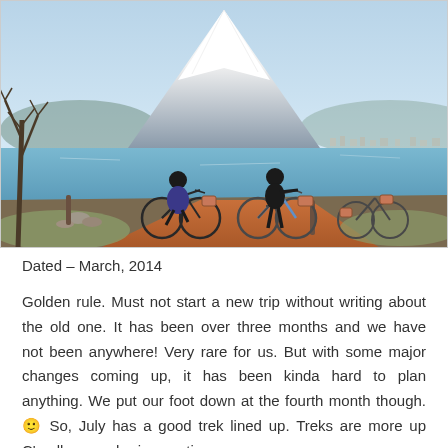[Figure (photo): Two people on bicycles on a lakeside path with Mount Fuji snow-capped in the background, clear sky, bare tree on the left, city visible across the lake.]
Dated – March, 2014
Golden rule. Must not start a new trip without writing about the old one. It has been over three months and we have not been anywhere! Very rare for us. But with some major changes coming up, it has been kinda hard to plan anything. We put our foot down at the fourth month though. 🙂 So, July has a good trek lined up. Treks are more up C's alley, so she is counting